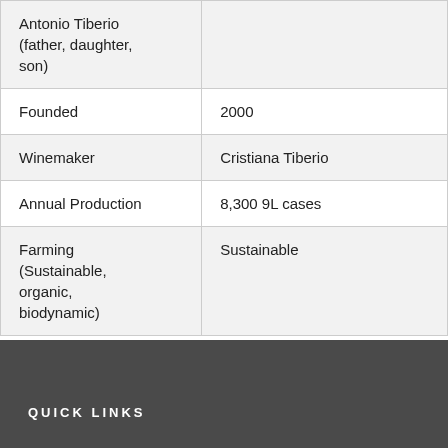| Antonio Tiberio (father, daughter, son) |  |
| Founded | 2000 |
| Winemaker | Cristiana Tiberio |
| Annual Production | 8,300 9L cases |
| Farming (Sustainable, organic, biodynamic) | Sustainable |
QUICK LINKS